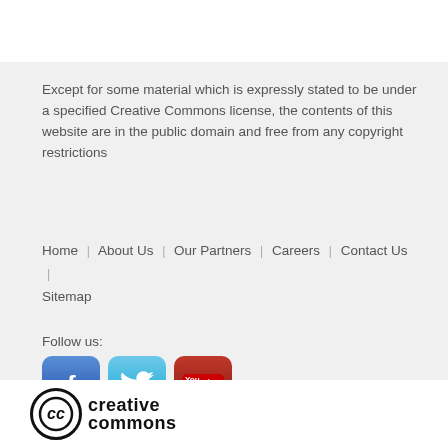Except for some material which is expressly stated to be under a specified Creative Commons license, the contents of this website are in the public domain and free from any copyright restrictions
Home | About Us | Our Partners | Careers | Contact Us | Sitemap
Follow us:
[Figure (illustration): Social media icons: Facebook (blue rounded square with 'f'), Twitter (light blue rounded square with bird), YouTube (red rounded square with 'You Tube' logo)]
[Figure (logo): Creative Commons logo: circle with 'cc' text followed by 'creative commons' text in bold]